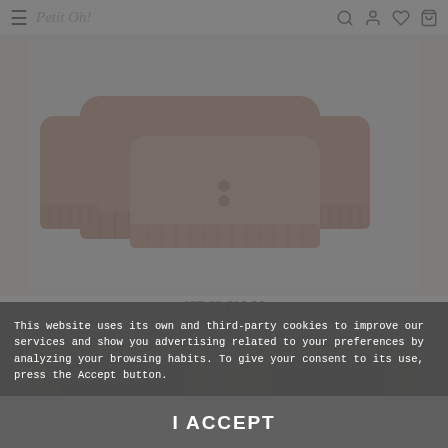≡  Petit Oh!  🔍  👤  ♡  🛍
[Figure (photo): Pink knit baby cardigan set displayed on white/light grey background, showing two overlapping knit cardigans in blush/dusty pink color with ribbed cuffs and button closures]
€57.00 €12.00
More colors available
[Figure (photo): Partial view of additional product thumbnails in second row, light grey background]
Privacy - Terms
This website uses its own and third-party cookies to improve our services and show you advertising related to your preferences by analyzing your browsing habits. To give your consent to its use, press the Accept button.
I ACCEPT